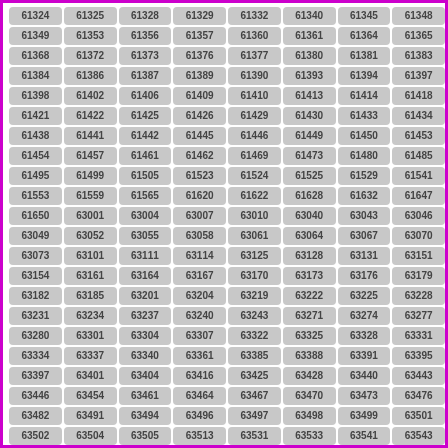| 61324 | 61325 | 61328 | 61329 | 61332 | 61340 | 61345 | 61348 |
| 61349 | 61353 | 61356 | 61357 | 61360 | 61361 | 61364 | 61365 |
| 61368 | 61372 | 61373 | 61376 | 61377 | 61380 | 61381 | 61383 |
| 61384 | 61386 | 61387 | 61389 | 61390 | 61393 | 61394 | 61397 |
| 61398 | 61402 | 61406 | 61409 | 61410 | 61413 | 61414 | 61418 |
| 61421 | 61422 | 61425 | 61426 | 61429 | 61430 | 61433 | 61434 |
| 61438 | 61441 | 61442 | 61445 | 61446 | 61449 | 61450 | 61453 |
| 61454 | 61457 | 61461 | 61462 | 61469 | 61473 | 61480 | 61485 |
| 61495 | 61499 | 61505 | 61523 | 61524 | 61525 | 61529 | 61541 |
| 61553 | 61559 | 61565 | 61620 | 61622 | 61628 | 61632 | 61647 |
| 61650 | 63001 | 63004 | 63007 | 63010 | 63040 | 63043 | 63046 |
| 63049 | 63052 | 63055 | 63058 | 63061 | 63064 | 63067 | 63070 |
| 63073 | 63101 | 63111 | 63114 | 63125 | 63128 | 63131 | 63151 |
| 63154 | 63161 | 63164 | 63167 | 63170 | 63173 | 63176 | 63179 |
| 63182 | 63185 | 63201 | 63204 | 63219 | 63222 | 63225 | 63228 |
| 63231 | 63234 | 63237 | 63240 | 63243 | 63271 | 63274 | 63277 |
| 63280 | 63301 | 63304 | 63307 | 63322 | 63325 | 63328 | 63331 |
| 63334 | 63337 | 63340 | 63361 | 63385 | 63388 | 63391 | 63395 |
| 63397 | 63401 | 63404 | 63416 | 63425 | 63428 | 63440 | 63443 |
| 63446 | 63454 | 63461 | 63464 | 63467 | 63470 | 63473 | 63476 |
| 63482 | 63491 | 63494 | 63496 | 63497 | 63498 | 63499 | 63501 |
| 63502 | 63504 | 63505 | 63513 | 63531 | 63533 | 63541 | 63543 |